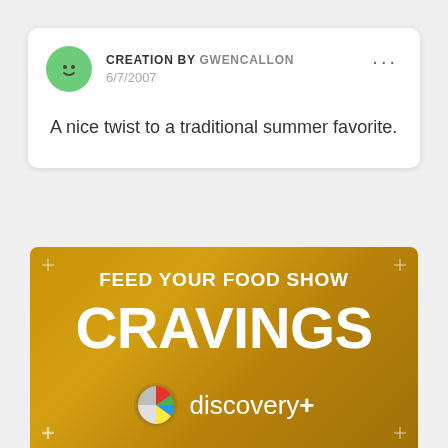CREATION BY GWENCALLON 6/7/2007
A nice twist to a traditional summer favorite.
[Figure (infographic): Discovery+ advertisement banner with golden gradient background. Text reads 'FEED YOUR FOOD SHOW CRAVINGS' with Discovery+ logo featuring a colorful sphere icon.]